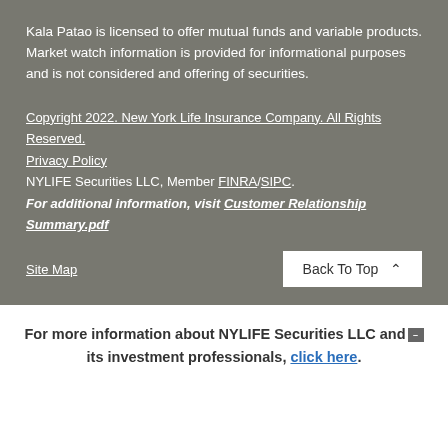Kala Patao is licensed to offer mutual funds and variable products.  Market watch information is provided for informational purposes and is not considered and offering of securities.
Copyright 2022. New York Life Insurance Company. All Rights Reserved.
Privacy Policy
NYLIFE Securities LLC, Member FINRA/SIPC.
For additional information, visit Customer Relationship Summary.pdf
Site Map
Back To Top
For more information about NYLIFE Securities LLC and its investment professionals, click here.